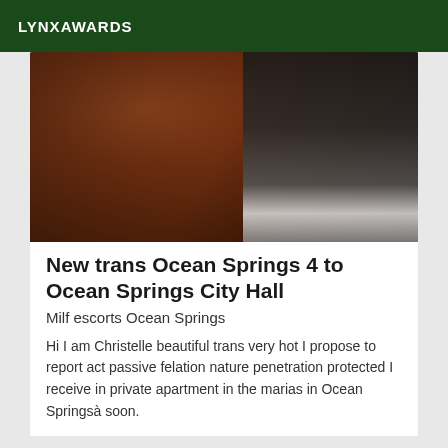LYNXAWARDS
[Figure (photo): A photo showing a person wearing dark clothing, positioned on a wooden floor surface, with some white furniture visible on the right side.]
New trans Ocean Springs 4 to Ocean Springs City Hall
Milf escorts Ocean Springs
Hi I am Christelle beautiful trans very hot I propose to report act passive felation nature penetration protected I receive in private apartment in the marias in Ocean Springsà soon.